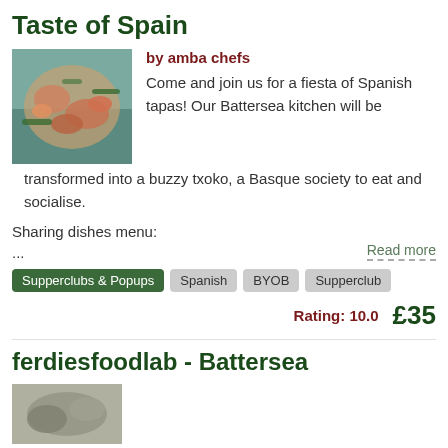Taste of Spain
by amba chefs
[Figure (photo): Food photo showing Spanish tapas dish with seafood and greens]
Come and join us for a fiesta of Spanish tapas! Our Battersea kitchen will be transformed into a buzzy txoko, a Basque society to eat and socialise.
Sharing dishes menu:
...
Read more
Supperclubs & Popups
Spanish
BYOB
Supperclub
Rating: 10.0   £35
ferdiesfoodlab - Battersea
[Figure (photo): Partial food photo at bottom of page]